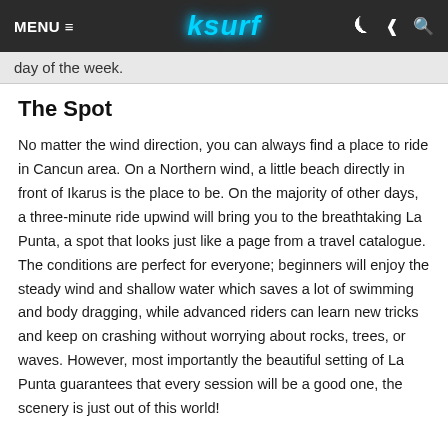MENU ≡   ksurf
day of the week.
The Spot
No matter the wind direction, you can always find a place to ride in Cancun area. On a Northern wind, a little beach directly in front of Ikarus is the place to be. On the majority of other days, a three-minute ride upwind will bring you to the breathtaking La Punta, a spot that looks just like a page from a travel catalogue. The conditions are perfect for everyone; beginners will enjoy the steady wind and shallow water which saves a lot of swimming and body dragging, while advanced riders can learn new tricks and keep on crashing without worrying about rocks, trees, or waves. However, most importantly the beautiful setting of La Punta guarantees that every session will be a good one, the scenery is just out of this world!